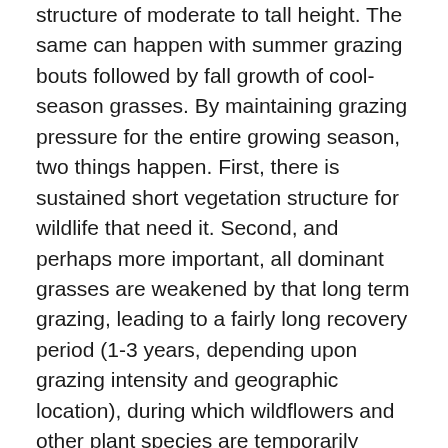structure of moderate to tall height.  The same can happen with summer grazing bouts followed by fall growth of cool-season grasses.  By maintaining grazing pressure for the entire growing season, two things happen.  First, there is sustained short vegetation structure for wildlife that need it.  Second, and perhaps more important, all dominant grasses are weakened by that long term grazing, leading to a fairly long recovery period (1-3 years, depending upon grazing intensity and geographic location), during which wildflowers and other plant species are temporarily released from that grass competition.  That long recovery period creates terrific wildlife habitat and also helps sustain plant diversity.
While prescribed fire isn't necessary in open gate rotational grazing, it can certainly be incorporated.  The paddock to be grazed all season could be burned before